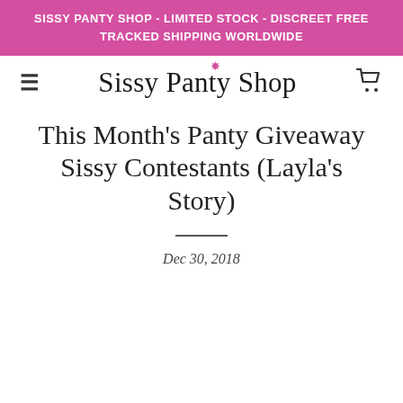SISSY PANTY SHOP - LIMITED STOCK - DISCREET FREE TRACKED SHIPPING WORLDWIDE
[Figure (screenshot): Navigation bar with hamburger menu icon on left, 'Sissy Panty Shop' script logo in center with pink flower decoration, and shopping cart icon on right]
This Month's Panty Giveaway Sissy Contestants (Layla's Story)
Dec 30, 2018